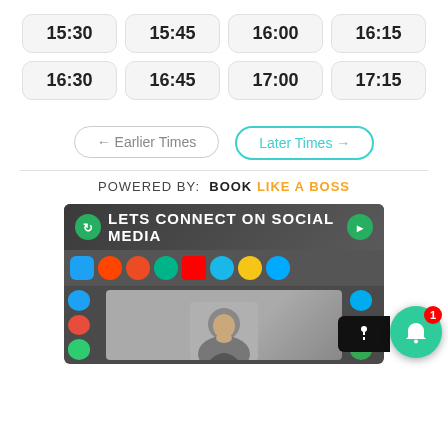| 15:30 | 15:45 | 16:00 | 16:15 |
| 16:30 | 16:45 | 17:00 | 17:15 |
← Earlier Times
Later Times →
POWERED BY: BOOK LIKE A BOSS
[Figure (screenshot): Social media connection promotional image showing various social media app icons and a man smiling, with text 'LETS CONNECT ON SOCIAL MEDIA'. A notification bell button with badge '1' is visible in the bottom right corner.]